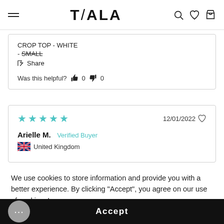TALA
CROP TOP - WHITE
- SMALL
Share
Was this helpful? 0  0
★★★★★  12/01/2022
Arielle M. Verified Buyer
🇬🇧 United Kingdom
We use cookies to store information and provide you with a better experience. By clicking "Accept", you agree on our use of cookies. Learn more
Accept